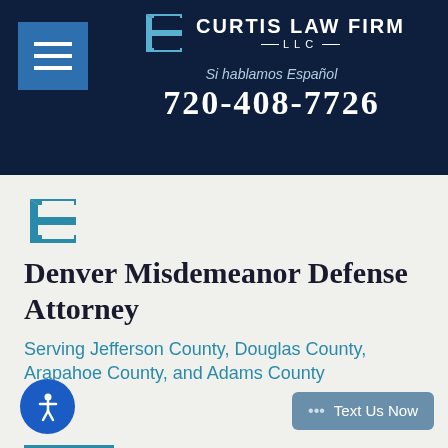[Figure (logo): Curtis Law Firm LLC logo with stylized C arrow icon, hamburger menu button on left, firm name, Spanish tagline and phone number on dark navy background]
[Figure (logo): Small Curtis Law Firm LLC blue arrow/C icon logo]
Denver Misdemeanor Defense Attorney
Serving Jefferson County, Douglas County, Arapahoe County, and Adams County